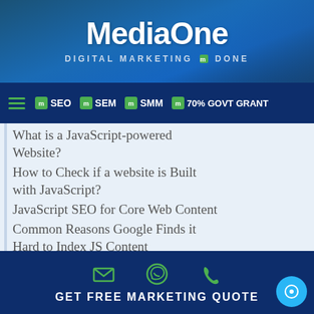MediaOne - DIGITAL MARKETING DONE
SEO | SEM | SMM | 70% GOVT GRANT
What is a JavaScript-powered Website?
How to Check if a website is Built with JavaScript?
JavaScript SEO for Core Web Content
Common Reasons Google Finds it Hard to Index JS Content
Why is JavaScript SEO Important?
GET FREE MARKETING QUOTE